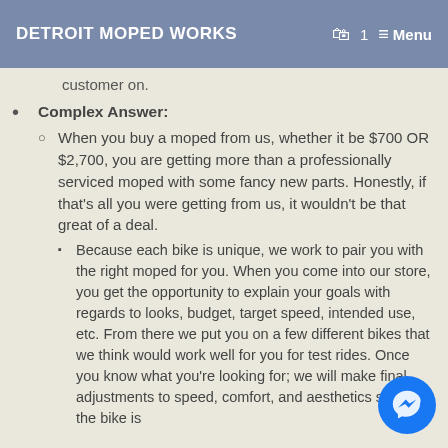DETROIT MOPED WORKS   🛍 1   ≡ Menu
customer on.
Complex Answer:
When you buy a moped from us, whether it be $700 OR $2,700, you are getting more than a professionally serviced moped with some fancy new parts. Honestly, if that's all you were getting from us, it wouldn't be that great of a deal.
Because each bike is unique, we work to pair you with the right moped for you. When you come into our store, you get the opportunity to explain your goals with regards to looks, budget, target speed, intended use, etc. From there we put you on a few different bikes that we think would work well for you for test rides. Once you know what you're looking for; we will make final adjustments to speed, comfort, and aesthetics so that the bike is